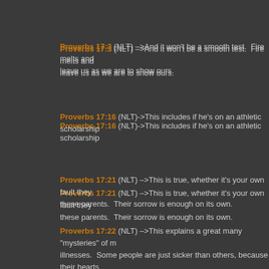Proverbs 17:3 (NLT) –>And it won't be a smooth test.  Fire melts and leave us as we are to show ours.
Proverbs 17:16 (NLT)->This includes if he's on an athletic scholarship
Proverbs 17:21 (NLT) –>This is true, whether it's your own fault they these parents.  Their sorrow is enough on its own.
Proverbs 17:22 (NLT) –>This explains a great many "mysteries" of m illnesses.  Some people are just sicker than others, because their hearts
Proverbs 17:26 (NLT) –>Yet we do it anyway.  What does that bode f
at January 17, 2010  No comments:  Labels: Doug Posts